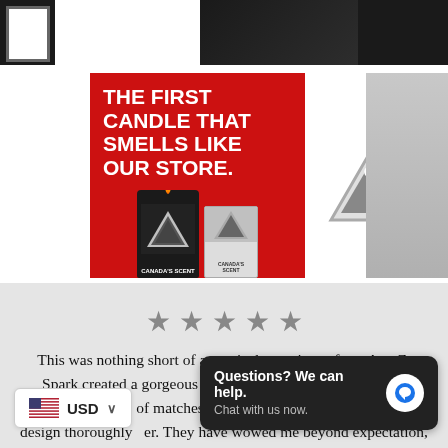[Figure (photo): Top-left corner of a dark framed image (partially cropped)]
[Figure (photo): Top-right corner of a dark textured image (partially cropped)]
[Figure (illustration): Canadian Tire candle advertisement on red background with text 'THE FIRST CANDLE THAT SMELLS LIKE OUR STORE.' and product images]
[Figure (logo): Canadian Tire triangle logo in gray with maple leaf and text CANADIAN TIRE]
[Figure (photo): Right-side partially cropped image]
★★★★★
This was nothing short of a magical experience from A to Z. Spark created a gorgeous custom blend holiday candle and matching boxes of matches for my small business. The the design thoroughly er. They have wowed me beyond expectation, they
USD
Questions? We can help.
Chat with us now.